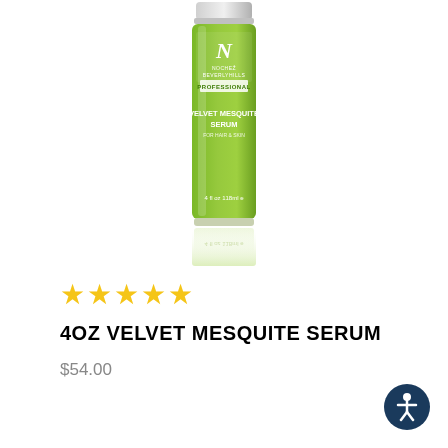[Figure (photo): Product photo of a green cylindrical bottle of NoCHEZ Beverly Hills Professional Velvet Mesquite Serum for Hair & Skin, 4 fl oz / 118ml, shown with its reflection below.]
★★★★★
4OZ VELVET MESQUITE SERUM
$54.00
[Figure (illustration): Accessibility icon: a circular dark blue button with a white person figure inside, indicating accessibility features.]